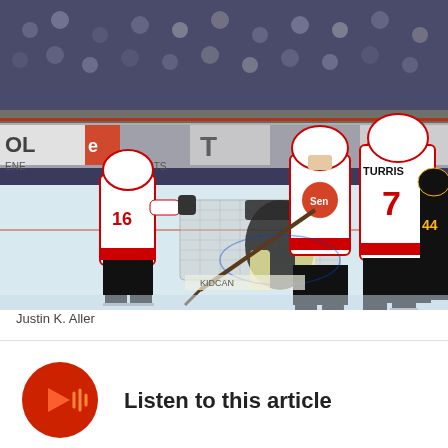[Figure (photo): Hockey game photo showing Ottawa Senators players in white jerseys (numbers 16 and 7 TURRIS visible) near the opponent's goal crease during an NHL game, with crowd in background.]
Justin K. Aller
[Figure (infographic): Red circular button with audio waveform/play icon in orange/yellow, representing a podcast or audio player button.]
Listen to this article